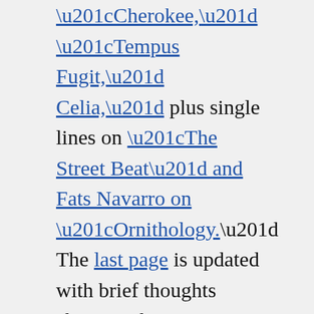“Cherokee,” “Tempus Fugit,” Celia,” plus single lines on “The Street Beat” and Fats Navarro on “Ornithology.” The last page is updated with brief thoughts about Guthrie P. Ramsey’s recent book and there’s even a fresh coda, a consideration of other pianists playing Bud Powell tunes.
The Lester Young Centennial also got a serious makeover, including a brand new transcription of “These Foolish Things.”
Much editing was done to the overview of Ornette Coleman, which connects to material on Gunther Schuller. Since Ornette